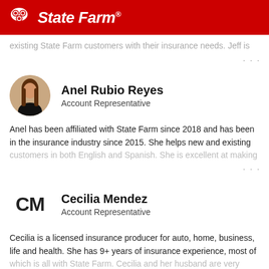[Figure (logo): State Farm logo — white oval icon with three circles and State Farm text on red background]
existing State Farm customers with their insurance needs. Jeff is
...
Anel Rubio Reyes
Account Representative
[Figure (photo): Circular profile photo of Anel Rubio Reyes, a woman with long brown hair wearing a black turtleneck]
Anel has been affiliated with State Farm since 2018 and has been in the insurance industry since 2015. She helps new and existing customers in both English and Spanish. She is excellent at making
...
Cecilia Mendez
Account Representative
[Figure (other): Initials avatar showing CM in bold black letters]
Cecilia is a licensed insurance producer for auto, home, business, life and health. She has 9+ years of insurance experience, most of which is all with State Farm. Cecilia and her husband are very busy
...